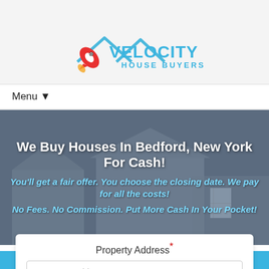[Figure (logo): Velocity House Buyers logo with rocket ship and house roof outline in blue]
Menu ▼
We Buy Houses In Bedford, New York For Cash!
You'll get a fair offer. You choose the closing date. We pay for all the costs!
No Fees. No Commission. Put More Cash In Your Pocket!
Property Address *
Enter Your Address